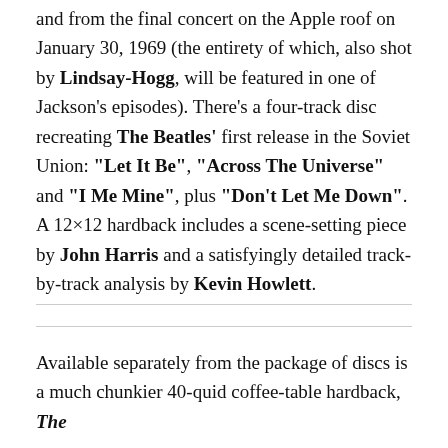and from the final concert on the Apple roof on January 30, 1969 (the entirety of which, also shot by Lindsay-Hogg, will be featured in one of Jackson's episodes). There's a four-track disc recreating The Beatles' first release in the Soviet Union: "Let It Be", "Across The Universe" and "I Me Mine", plus "Don't Let Me Down". A 12×12 hardback includes a scene-setting piece by John Harris and a satisfyingly detailed track-by-track analysis by Kevin Howlett.
Available separately from the package of discs is a much chunkier 40-quid coffee-table hardback, The